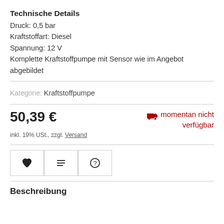Technische Details
Druck: 0,5 bar
Kraftstoffart: Diesel
Spannung: 12 V
Komplette Kraftstoffpumpe mit Sensor wie im Angebot abgebildet
Kategorie: Kraftstoffpumpe
50,39 €
momentan nicht verfügbar
inkl. 19% USt., zzgl. Versand
[Figure (other): Three icon buttons: heart (wishlist), list/menu, and question mark]
Beschreibung